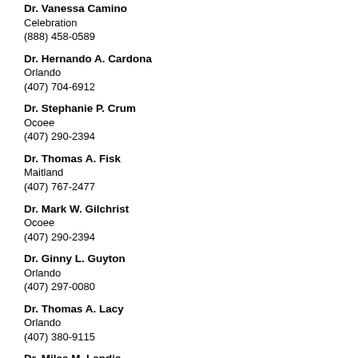Dr. Vanessa Camino
Celebration
(888) 458-0589
Dr. Hernando A. Cardona
Orlando
(407) 704-6912
Dr. Stephanie P. Crum
Ocoee
(407) 290-2394
Dr. Thomas A. Fisk
Maitland
(407) 767-2477
Dr. Mark W. Gilchrist
Ocoee
(407) 290-2394
Dr. Ginny L. Guyton
Orlando
(407) 297-0080
Dr. Thomas A. Lacy
Orlando
(407) 380-9115
Dr. Miles M. Landis